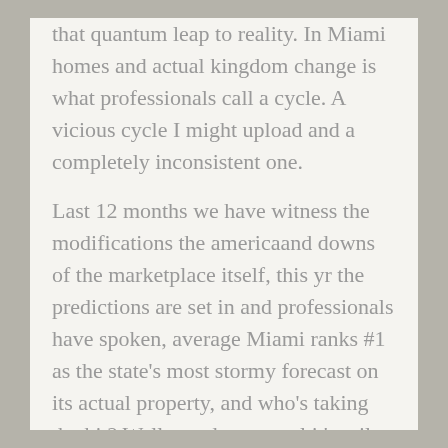that quantum leap to reality. In Miami homes and actual kingdom change is what professionals call a cycle. A vicious cycle I might upload and a completely inconsistent one.
Last 12 months we have witness the modifications the americaand downs of the marketplace itself, this yr the predictions are set in and professionals have spoken, average Miami ranks #1 as the state's most stormy forecast on its actual property, and who's taking the hit? Well wonder, marvel it's miles the home enterprise. With the apparent residential bust at the city, buyers are shying away on putting their cash at the table, why? Because they had been analyzing the papers